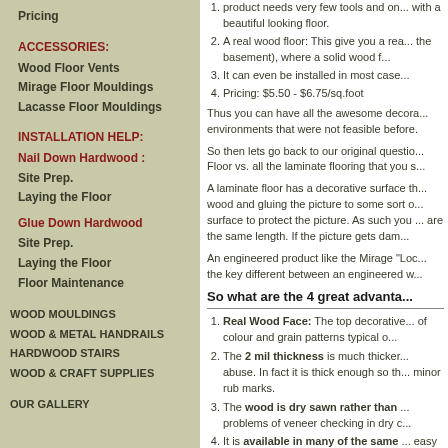Pricing
ACCESSORIES:
Wood Floor Vents
Mirage Floor Mouldings
Lacasse Floor Mouldings
INSTALLATION HELP:
Nail Down Hardwood :
Site Prep.
Laying the Floor
Glue Down Hardwood
Site Prep.
Laying the Floor
Floor Maintenance
WOOD MOULDINGS
WOOD & METAL HANDRAILS
HARDWOOD STAIRS
WOOD & CRAFT SUPPLIES
OUR GALLERY
product needs very few tools and on...with a beautiful looking floor.
A real wood floor: This give you a rea...the basement), where a solid wood f...
It can even be installed in most case...
Pricing: $5.50 - $6.75/sq.foot
Thus you can have all the awesome decora...environments that were not feasible before.
So then lets go back to our original questio...Floor vs. all the laminate flooring that you s...
A laminate floor has a decorative surface th...wood and gluing the picture to some sort o...surface to protect the picture. As such you ...are the same length. If the picture gets dam...
An engineered product like the Mirage "Loc...the key different between an engineered w...
So what are the 4 great advanta...
Real Wood Face: The top decorative...of colour and grain patterns typical o...
The 2 mil thickness is much thicker...abuse. In fact it is thick enough so th...minor rub marks.
The wood is dry sawn rather than ...problems of veneer checking in dry c...
It is available in many of the same ...easy to continue from main floor to...